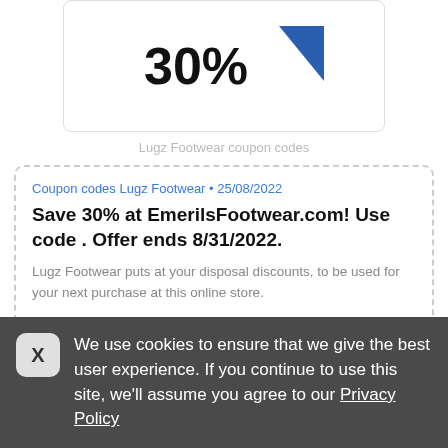[Figure (logo): Partial Lugz Footwear logo with '30%' text and blue triangle visible, cropped at top of page]
Lugz Footwear coupon codes
Coupon codes Lugz Footwear • 25/08/2022
Save 30% at EmerilsFootwear.com! Use code . Offer ends 8/31/2022.
Lugz Footwear puts at your disposal discounts, to be used for your next purchase at this online store.
[Figure (screenshot): SHOW CODE button with grey left side and blue right side showing 'MER']
Share
0 times used
We use cookies to ensure that we give the best user experience. If you continue to use this site, we'll assume you agree to our Privacy Policy